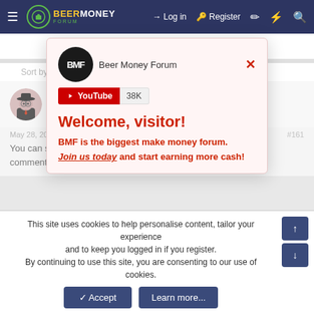Beer Money Forum — Log in   Register
Sort by date   Sort by votes
[Figure (screenshot): Beer Money Forum popup with BMF logo, YouTube 38K subscribe button, welcome message for visitors]
kayode
Platinum Member
May 28, 2022   #161
You can start making money on this website through commenting. You should focus on adding value to the
Welcome, visitor!
BMF is the biggest make money forum.
Join us today and start earning more cash!
This site uses cookies to help personalise content, tailor your experience and to keep you logged in if you register.
By continuing to use this site, you are consenting to our use of cookies.
Accept   Learn more...